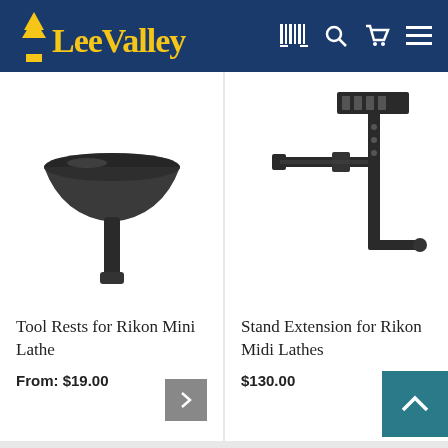Lee Valley
[Figure (photo): Tool rest for Rikon Mini Lathe — black metal bowl-shaped rest on a cylindrical stem]
Tool Rests for Rikon Mini Lathe
From: $19.00
[Figure (photo): Stand Extension for Rikon Midi Lathes — black metal adjustable bracket with horizontal arms and mounting plate at top]
Stand Extension for Rikon Midi Lathes
$130.00